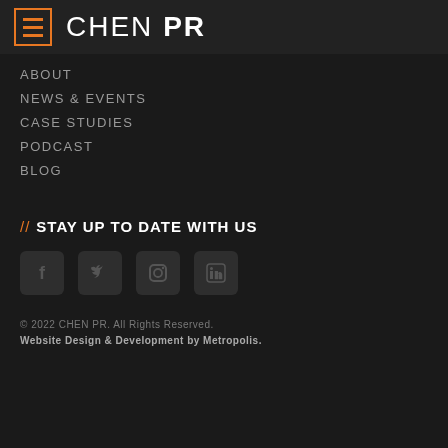CHEN PR
ABOUT
NEWS & EVENTS
CASE STUDIES
PODCAST
BLOG
// STAY UP TO DATE WITH US
[Figure (illustration): Social media icons: Facebook, Twitter, Instagram, LinkedIn]
© 2022 CHEN PR. All Rights Reserved. Website Design & Development by Metropolis.